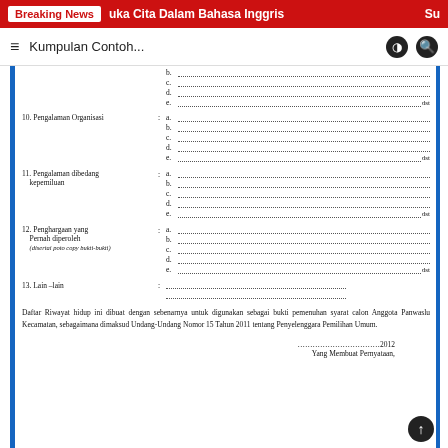Breaking News | uka Cita Dalam Bahasa Inggris | Su
Kumpulan Contoh...
b. ..........................................................................................
c. ..........................................................................................
d. ..........................................................................................
e. .....................................................................................dst
10. Pengalaman Organisasi : a. ...
b. ...
c. ...
d. ...
e. ...dst
11. Pengalaman dibedang kepemiluan : a. ...
b. ...
c. ...
d. ...
e. ...dst
12. Penghargaan yang Pernah diperoleh (disertai poto copy bukti-bukti) : a. ...
b. ...
c. ...
d. ...
e. ...dst
13. Lain -lain : ......................
.....................
Daftar Riwayat hidup ini dibuat dengan sebenarnya untuk digunakan sebagai bukti pemenuhan syarat calon Anggota Panwaslu Kecamatan, sebagaimana dimaksud Undang-Undang Nomor 15 Tahun 2011 tentang Penyelenggara Pemilihan Umum.
....................................2012
Yang Membuat Pernyataan,